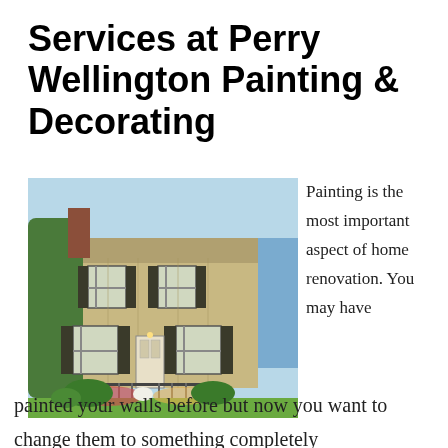Services at Perry Wellington Painting & Decorating
[Figure (photo): Two-story house with tan/beige siding, dark shutters, multiple windows, front porch with wrought iron railing, surrounded by green shrubs and a lawn.]
Painting is the most important aspect of home renovation. You may have painted your walls before but now you want to change them to something completely